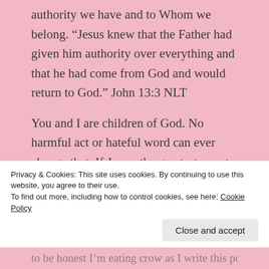authority we have and to Whom we belong. “Jesus knew that the Father had given him authority over everything and that he had come from God and would return to God.” John 13:3 NLT
You and I are children of God. No harmful act or hateful word can ever change that. If Jesus, the greatest man to ever walk this earth, was hated and betrayed by His so-called friends-it’s naive to think that we would not experience the same. When Jesus was beaten, spat upon and mocked, not one time did He say, “Do you know who
Privacy & Cookies: This site uses cookies. By continuing to use this website, you agree to their use.
To find out more, including how to control cookies, see here: Cookie Policy
Close and accept
to be honest I’m eating crow as I write this post